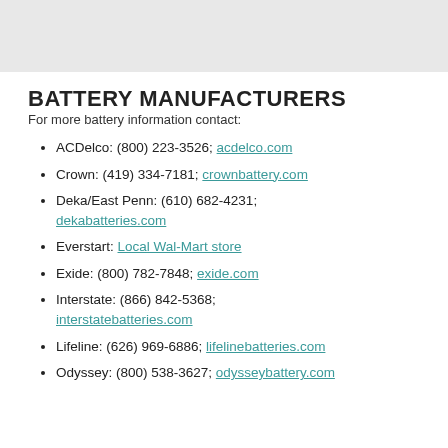BATTERY MANUFACTURERS
For more battery information contact:
ACDelco: (800) 223-3526; acdelco.com
Crown: (419) 334-7181; crownbattery.com
Deka/East Penn: (610) 682-4231; dekabatteries.com
Everstart: Local Wal-Mart store
Exide: (800) 782-7848; exide.com
Interstate: (866) 842-5368; interstatebatteries.com
Lifeline: (626) 969-6886; lifelinebatteries.com
Odyssey: (800) 538-3627; odysseybattery.com